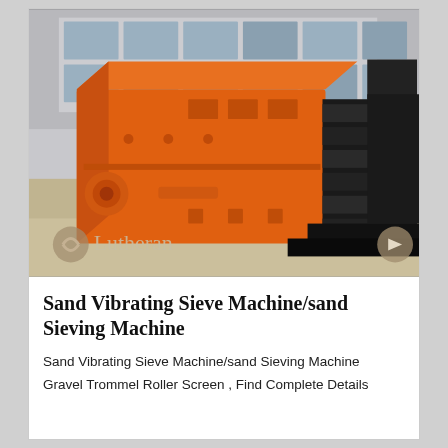[Figure (photo): Photograph of a large orange and black Sand Vibrating Sieve Machine / Sand Sieving Machine sitting on a concrete surface outdoors, with a building visible in the background. The machine has an orange metal frame body and black screen/sieve panels. A watermark overlay reads 'Lutheran' with a logo icon at the bottom left.]
Sand Vibrating Sieve Machine/sand Sieving Machine
Sand Vibrating Sieve Machine/sand Sieving Machine
Gravel Trommel Roller Screen , Find Complete Details